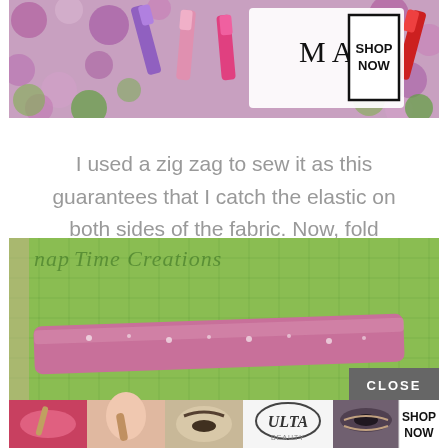[Figure (illustration): MAC cosmetics advertisement banner showing lipsticks on colorful polka dot background, with MAC logo and SHOP NOW button in a box]
I used a zig zag to sew it as this guarantees that I catch the elastic on both sides of the fabric. Now, fold right sides together and sew up the side/or back seam.
[Figure (photo): Nap Time Creations blog content image showing a green cutting mat with pink floral fabric strip, and a bottom banner with makeup/beauty photos, ULTA beauty logo, and SHOP NOW button with a CLOSE button overlay]